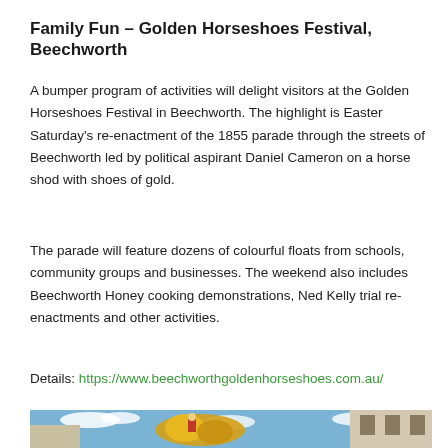Family Fun – Golden Horseshoes Festival, Beechworth
A bumper program of activities will delight visitors at the Golden Horseshoes Festival in Beechworth. The highlight is Easter Saturday's re-enactment of the 1855 parade through the streets of Beechworth led by political aspirant Daniel Cameron on a horse shod with shoes of gold.
The parade will feature dozens of colourful floats from schools, community groups and businesses. The weekend also includes Beechworth Honey cooking demonstrations, Ned Kelly trial re-enactments and other activities.
Details: https://www.beechworthgoldenhorseshoes.com.au/
[Figure (photo): Festival photo showing colourful decorations or floats against a blue sky with buildings in background]